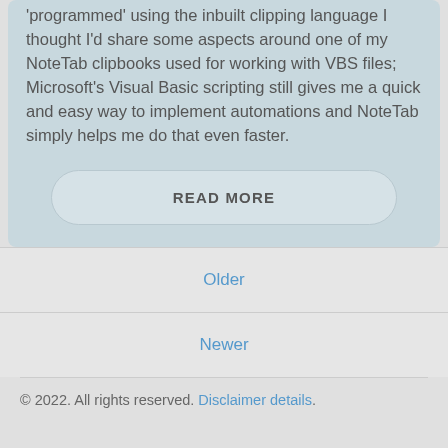'programmed' using the inbuilt clipping language I thought I'd share some aspects around one of my NoteTab clipbooks used for working with VBS files; Microsoft's Visual Basic scripting still gives me a quick and easy way to implement automations and NoteTab simply helps me do that even faster.
READ MORE
Older
Newer
© 2022. All rights reserved. Disclaimer details.